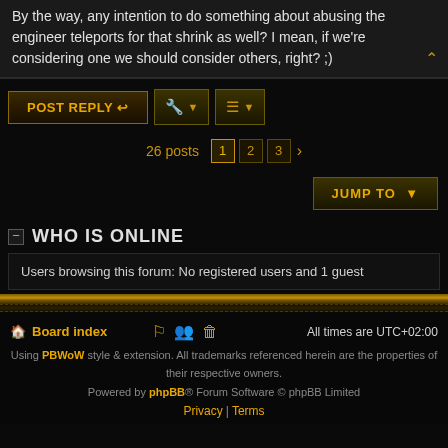By the way, any intention to do something about abusing the engineer teleports for that shrink as well? I mean, if we're considering one we should consider others, right? ;)
POST REPLY | [tools] | [sort]
26 posts  1  2  3  >
JUMP TO
WHO IS ONLINE
Users browsing this forum: No registered users and 1 guest
Board index | All times are UTC+02:00 | Using PBWoW style & extension. All trademarks referenced herein are the properties of their respective owners. | Powered by phpBB® Forum Software © phpBB Limited | Privacy | Terms